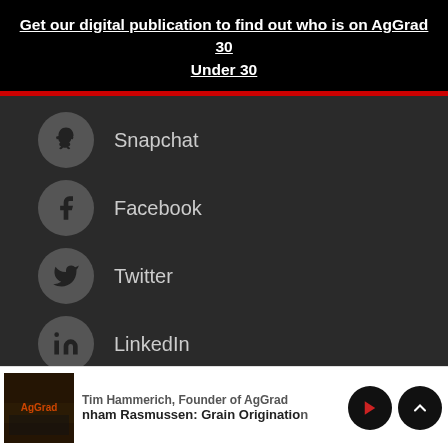Get our digital publication to find out who is on AgGrad 30 Under 30
Snapchat
Facebook
Twitter
LinkedIn
Instagram
Tim Hammerich, Founder of AgGrad
nham Rasmussen: Grain Origination